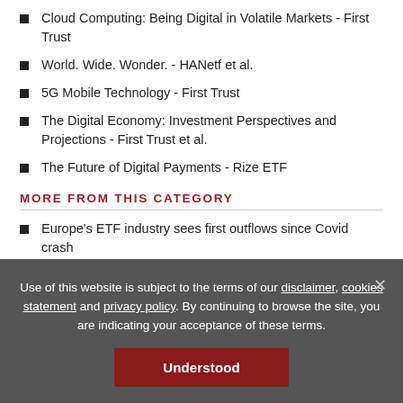Cloud Computing: Being Digital in Volatile Markets - First Trust
World. Wide. Wonder. - HANetf et al.
5G Mobile Technology - First Trust
The Digital Economy: Investment Perspectives and Projections - First Trust et al.
The Future of Digital Payments - Rize ETF
MORE FROM THIS CATEGORY
Europe's ETF industry sees first outflows since Covid crash
BlackRock begins winding down Russia ETF
APAC's ETF industry poised for further growth
SGX and NYSE move to strengthen ties, develop new ETFs
Use of this website is subject to the terms of our disclaimer, cookies statement and privacy policy. By continuing to browse the site, you are indicating your acceptance of these terms.